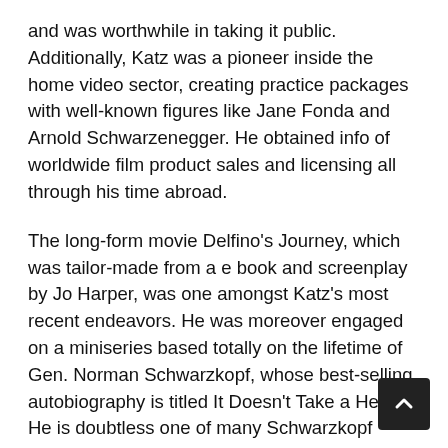and was worthwhile in taking it public. Additionally, Katz was a pioneer inside the home video sector, creating practice packages with well-known figures like Jane Fonda and Arnold Schwarzenegger. He obtained info of worldwide film product sales and licensing all through his time abroad.
The long-form movie Delfino's Journey, which was tailor-made from a e book and screenplay by Jo Harper, was one amongst Katz's most recent endeavors. He was moreover engaged on a miniseries based totally on the lifetime of Gen. Norman Schwarzkopf, whose best-selling autobiography is titled It Doesn't Take a Hero. He is doubtless one of many Schwarzkopf mission's govt producers.
The founding member of the Los Angeles-based flying membership Showhawks for the leisure enterprise, Katz was a devoted aviation fanatic.
He may also be survived by his stepdaughter Victoria Flores